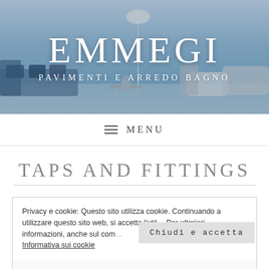[Figure (photo): Hero banner showing a modern interior design scene with furniture (sofa with blue cushions, chairs) against a light blue background. Text overlay shows 'EMMEGI' and 'PAVIMENTI E ARREDO BAGNO']
EMMEGI
PAVIMENTI E ARREDO BAGNO
≡  MENU
TAPS AND FITTINGS
Privacy e cookie: Questo sito utilizza cookie. Continuando a utilizzare questo sito web, si accetta l'util... Per ulteriori informazioni, anche sul con...
Chiudi e accetta
Informativa sui cookie